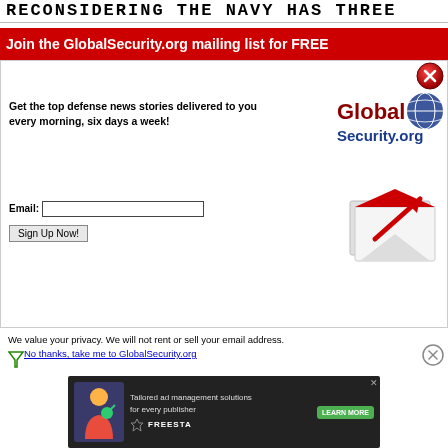RECONSIDERING THE NAVY HAS THREE
Join the GlobalSecurity.org mailing list for FREE
Get the top defense news stories delivered to you every morning, six days a week!
[Figure (logo): GlobalSecurity.org logo with globe graphic]
[Figure (illustration): Email input field and Sign Up Now button]
[Figure (illustration): Envelope icon with red arrow]
We value your privacy. We will not rent or sell your email address.
No thanks, take me to GlobalSecurity.org
[Figure (screenshot): Ad banner: Tailored ad management solutions for every publisher — FREESTA — LEARN MORE]